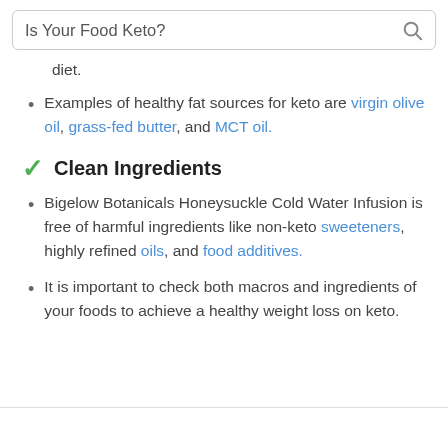Is Your Food Keto?
diet.
Examples of healthy fat sources for keto are virgin olive oil, grass-fed butter, and MCT oil.
Clean Ingredients
Bigelow Botanicals Honeysuckle Cold Water Infusion is free of harmful ingredients like non-keto sweeteners, highly refined oils, and food additives.
It is important to check both macros and ingredients of your foods to achieve a healthy weight loss on keto.